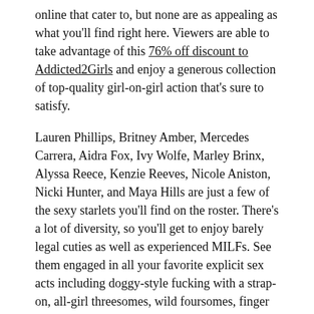online that cater to, but none are as appealing as what you'll find right here. Viewers are able to take advantage of this 76% off discount to Addicted2Girls and enjoy a generous collection of top-quality girl-on-girl action that's sure to satisfy.
Lauren Phillips, Britney Amber, Mercedes Carrera, Aidra Fox, Ivy Wolfe, Marley Brinx, Alyssa Reece, Kenzie Reeves, Nicole Aniston, Nicki Hunter, and Maya Hills are just a few of the sexy starlets you'll find on the roster. There's a lot of diversity, so you'll get to enjoy barely legal cuties as well as experienced MILFs. See them engaged in all your favorite explicit sex acts including doggy-style fucking with a strap-on, all-girl threesomes, wild foursomes, finger fucking, interracial lesbian sex, and squirting. This is an incredible deal you don't want to miss out on.